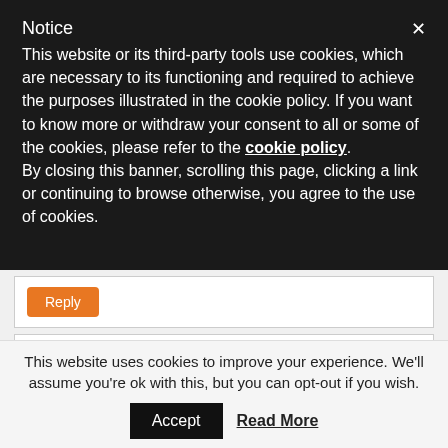Notice
This website or its third-party tools use cookies, which are necessary to its functioning and required to achieve the purposes illustrated in the cookie policy. If you want to know more or withdraw your consent to all or some of the cookies, please refer to the cookie policy. By closing this banner, scrolling this page, clicking a link or continuing to browse otherwise, you agree to the use of cookies.
[Figure (screenshot): Reply button (orange) in a comment section]
[Figure (screenshot): Comment by Irish Domainer with avatar showing 'iD' logo, date: August 24, 2011 at 7:09 AM]
This website uses cookies to improve your experience. We'll assume you're ok with this, but you can opt-out if you wish.
Accept    Read More